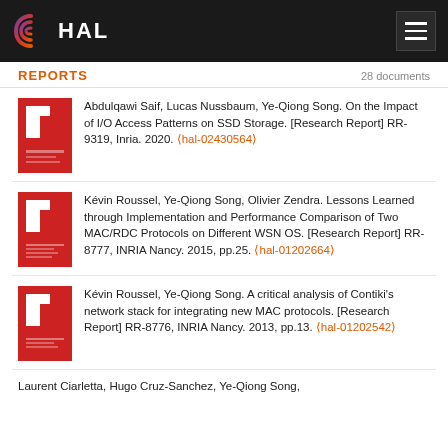HAL
REPORTS   28 documents
Abdulqawi Saif, Lucas Nussbaum, Ye-Qiong Song. On the Impact of I/O Access Patterns on SSD Storage. [Research Report] RR-9319, Inria. 2020. (hal-02430564)
Kévin Roussel, Ye-Qiong Song, Olivier Zendra. Lessons Learned through Implementation and Performance Comparison of Two MAC/RDC Protocols on Different WSN OS. [Research Report] RR-8777, INRIA Nancy. 2015, pp.25. (hal-01202664)
Kévin Roussel, Ye-Qiong Song. A critical analysis of Contiki's network stack for integrating new MAC protocols. [Research Report] RR-8776, INRIA Nancy. 2013, pp.13. (hal-01202542)
Laurent Ciarletta, Hugo Cruz-Sanchez, Ye-Qiong Song,